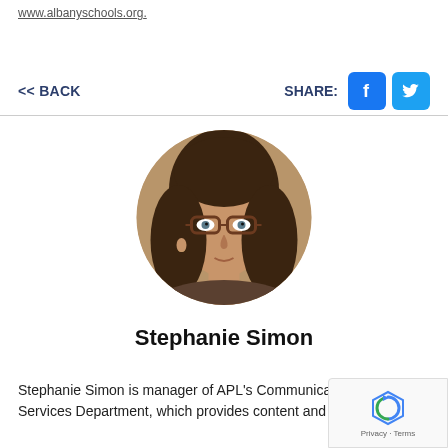www.albanyschools.org.
<< BACK
SHARE:
[Figure (photo): Circular profile photo of Stephanie Simon, a woman with brown hair and glasses, wearing earrings.]
Stephanie Simon
Stephanie Simon is manager of APL's Communication Creative Services Department, which provides content and